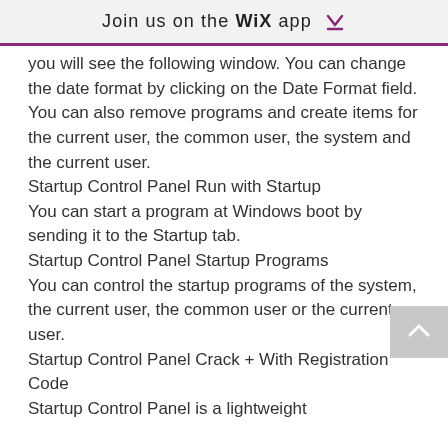Join us on the WiX app ⬇
you will see the following window. You can change the date format by clicking on the Date Format field. You can also remove programs and create items for the current user, the common user, the system and the current user.
Startup Control Panel Run with Startup
You can start a program at Windows boot by sending it to the Startup tab.
Startup Control Panel Startup Programs
You can control the startup programs of the system, the current user, the common user or the current user.
Startup Control Panel Crack + With Registration Code
Startup Control Panel is a lightweight